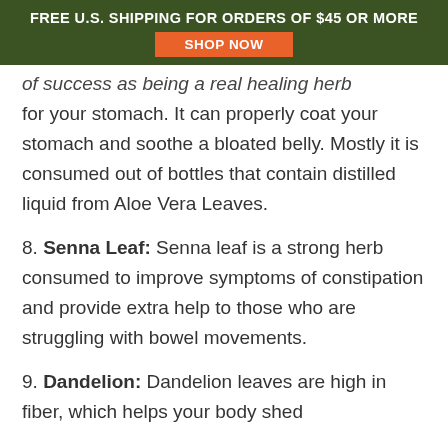FREE U.S. SHIPPING FOR ORDERS OF $45 OR MORE
SHOP NOW
of success as being a real healing herb for your stomach. It can properly coat your stomach and soothe a bloated belly. Mostly it is consumed out of bottles that contain distilled liquid from Aloe Vera Leaves.
8. Senna Leaf: Senna leaf is a strong herb consumed to improve symptoms of constipation and provide extra help to those who are struggling with bowel movements.
9. Dandelion: Dandelion leaves are high in fiber, which helps your body shed